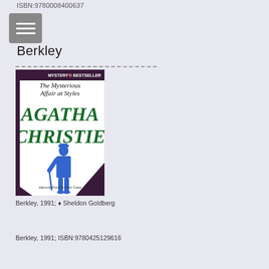ISBN:9780008400637
Berkley
[Figure (photo): Book cover of 'The Mysterious Affair at Styles' by Agatha Christie, published by Berkley. Shows a blue silhouette of a man with a cane on a white background with green text for the author name. Text reads MYSTERY'S #1 BESTSELLER at top, The Mysterious Affair at Styles, AGATHA CHRISTIE, Hercule Poirot's First Case.]
Berkley, 1991; ♦ Sheldon Goldberg
Berkley, 1991; ISBN:9780425129616